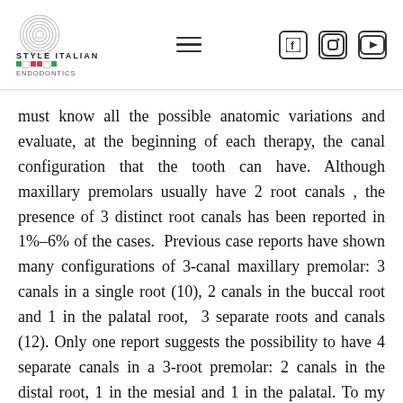Style Italian Endodontics logo and navigation
must know all the possible anatomic variations and evaluate, at the beginning of each therapy, the canal configuration that the tooth can have. Although maxillary premolars usually have 2 root canals , the presence of 3 distinct root canals has been reported in 1%–6% of the cases. Previous case reports have shown many configurations of 3-canal maxillary premolar: 3 canals in a single root (10), 2 canals in the buccal root and 1 in the palatal root, 3 separate roots and canals (12). Only one report suggests the possibility to have 4 separate canals in a 3-root premolar: 2 canals in the distal root, 1 in the mesial and 1 in the palatal. To my knowledge, no case of a maxillary premolar with 4 distinct roots has ever been reported.